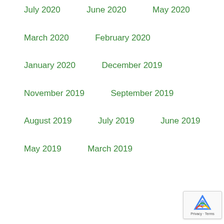July 2020
June 2020
May 2020
March 2020
February 2020
January 2020
December 2019
November 2019
September 2019
August 2019
July 2019
June 2019
May 2019
March 2019